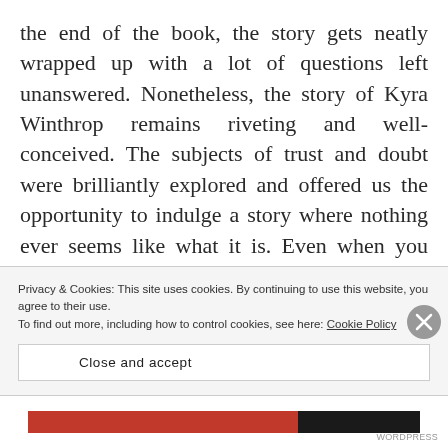the end of the book, the story gets neatly wrapped up with a lot of questions left unanswered. Nonetheless, the story of Kyra Winthrop remains riveting and well-conceived. The subjects of trust and doubt were brilliantly explored and offered us the opportunity to indulge a story where nothing ever seems like what it is. Even when you think you know, A.J. Banner makes sure to remind you that you're just as lost and unsure as Kyra is during her hunt for answers. This is the
Privacy & Cookies: This site uses cookies. By continuing to use this website, you agree to their use.
To find out more, including how to control cookies, see here: Cookie Policy
Close and accept